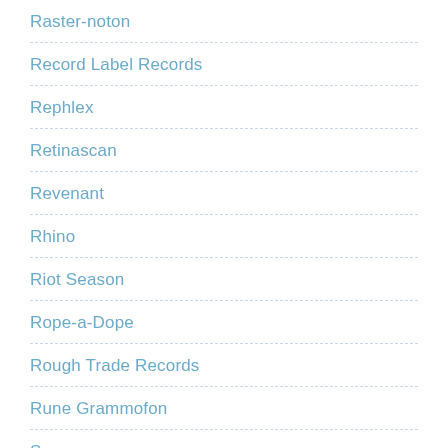Raster-noton
Record Label Records
Rephlex
Retinascan
Revenant
Rhino
Riot Season
Rope-a-Dope
Rough Trade Records
Rune Grammofon
Scane